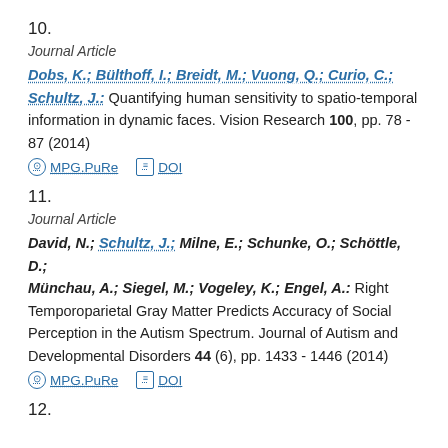10.
Journal Article
Dobs, K.; Bülthoff, I.; Breidt, M.; Vuong, Q.; Curio, C.; Schultz, J.: Quantifying human sensitivity to spatio-temporal information in dynamic faces. Vision Research 100, pp. 78 - 87 (2014)
MPG.PuRe   DOI
11.
Journal Article
David, N.; Schultz, J.; Milne, E.; Schunke, O.; Schöttle, D.; Münchau, A.; Siegel, M.; Vogeley, K.; Engel, A.: Right Temporoparietal Gray Matter Predicts Accuracy of Social Perception in the Autism Spectrum. Journal of Autism and Developmental Disorders 44 (6), pp. 1433 - 1446 (2014)
MPG.PuRe   DOI
12.